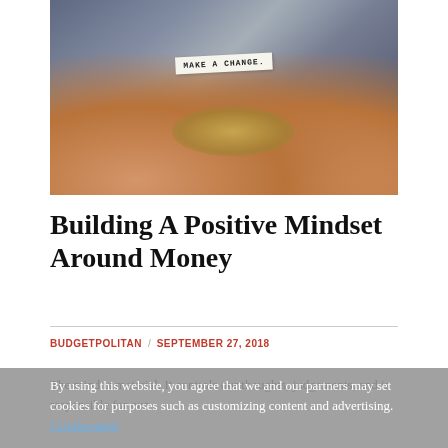[Figure (photo): Person holding coins in cupped hands with a paper note reading 'MAKE A CHANGE']
Building A Positive Mindset Around Money
BUDGETPOLITAN / SEPTEMBER 27, 2018
The mind is material. It controls our thoughts, judgements, and is responsible for our
By using this website, you agree that we and our partners may set cookies for purposes such as customizing content and advertising. I Understand